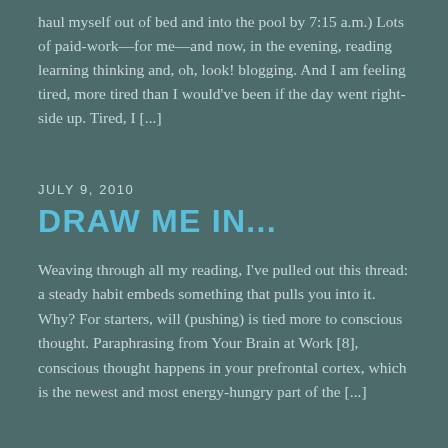haul myself out of bed and into the pool by 7:15 a.m.) Lots of paid-work—for me—and now, in the evening, reading learning thinking and, oh, look! blogging. And I am feeling tired, more tired than I would've been if the day went right-side up. Tired, I [...]
JULY 9, 2010
DRAW ME IN...
Weaving through all my reading, I've pulled out this thread: a steady habit embeds something that pulls you into it. Why? For starters, will (pushing) is tied more to conscious thought. Paraphrasing from Your Brain at Work [8], conscious thought happens in your prefrontal cortex, which is the newest and most energy-hungry part of the [...]